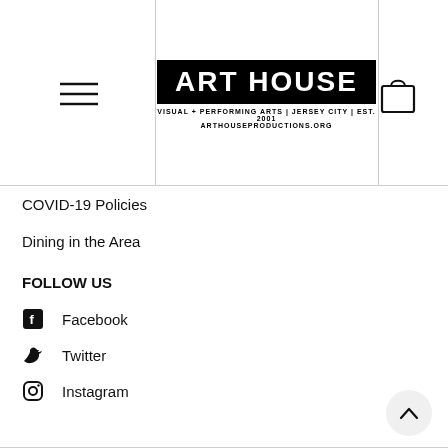[Figure (logo): Art House Productions logo — black rectangle with white bold text 'ART HOUSE', subtitle 'VISUAL + PERFORMING ARTS | JERSEY CITY | EST. 2001' and 'ARTHOUSEPRODUCTIONS.ORG']
COVID-19 Policies
Dining in the Area
FOLLOW US
Facebook
Twitter
Instagram